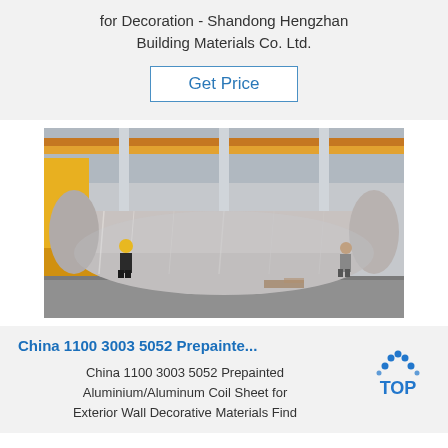for Decoration - Shandong Hengzhan Building Materials Co. Ltd.
Get Price
[Figure (photo): Warehouse photo showing large rolled aluminum coil wrapped in plastic film on a factory floor, with workers standing beside it and industrial crane visible in background.]
China 1100 3003 5052 Prepainte...
China 1100 3003 5052 Prepainted Aluminium/Aluminum Coil Sheet for Exterior Wall Decorative Materials Find
[Figure (logo): TOP logo — blue text 'TOP' with decorative dots arranged in a triangular arch above it]